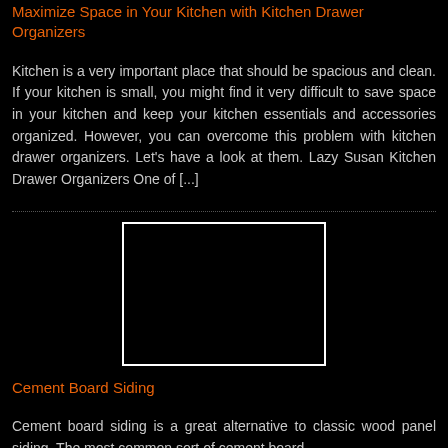Maximize Space in Your Kitchen with Kitchen Drawer Organizers
Kitchen is a very important place that should be spacious and clean. If your kitchen is small, you might find it very difficult to save space in your kitchen and keep your kitchen essentials and accessories organized. However, you can overcome this problem with kitchen drawer organizers. Let's have a look at them. Lazy Susan Kitchen Drawer Organizers One of [...]
[Figure (photo): A black rectangular image placeholder with white border, centered on the page]
Cement Board Siding
Cement board siding is a great alternative to classic wood panel siding. The most common sort of cement board